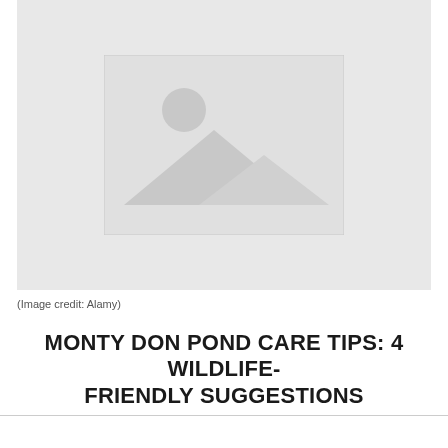[Figure (photo): Placeholder image with mountain/landscape icon on light grey background]
(Image credit: Alamy)
MONTY DON POND CARE TIPS: 4 WILDLIFE-FRIENDLY SUGGESTIONS